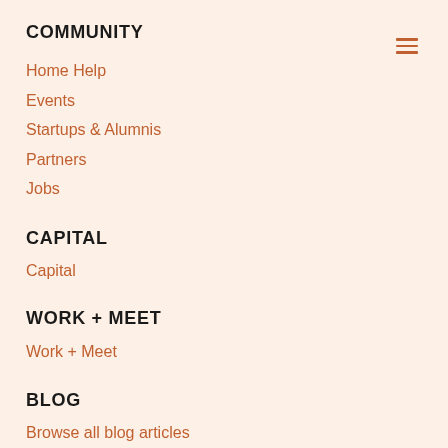COMMUNITY
Home Help
Events
Startups & Alumnis
Partners
Jobs
CAPITAL
Capital
WORK + MEET
Work + Meet
BLOG
Browse all blog articles